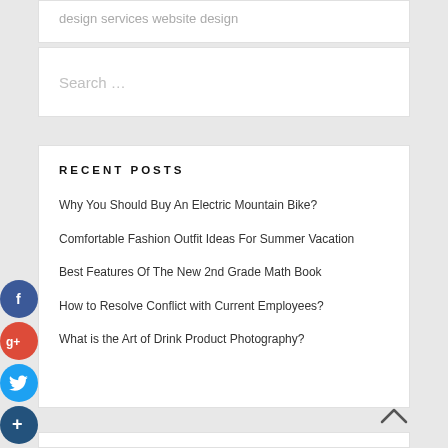design services website design
Search ...
RECENT POSTS
Why You Should Buy An Electric Mountain Bike?
Comfortable Fashion Outfit Ideas For Summer Vacation
Best Features Of The New 2nd Grade Math Book
How to Resolve Conflict with Current Employees?
What is the Art of Drink Product Photography?
[Figure (infographic): Social media share buttons: Facebook (blue circle with f), Google+ (red circle with g+), Twitter (light blue circle with bird), and a dark blue plus button, arranged vertically on left side of page]
[Figure (infographic): Back to top chevron/caret arrow icon in bottom right corner]